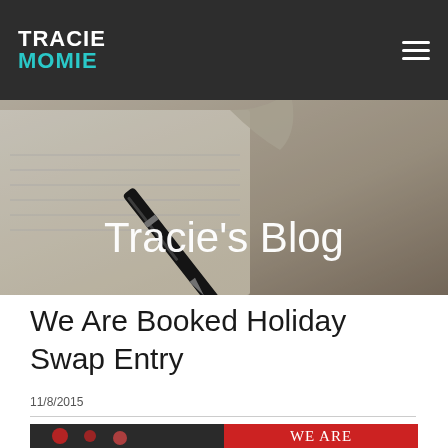TRACIE MOMIE
[Figure (photo): Hero banner image showing a notebook and pen in muted tones with the text 'Tracie's Blog' overlaid in white]
Tracie's Blog
We Are Booked Holiday Swap Entry
11/8/2015
[Figure (photo): Partial view of a 'We Are Booked' holiday swap promotional image with red background and white serif text]